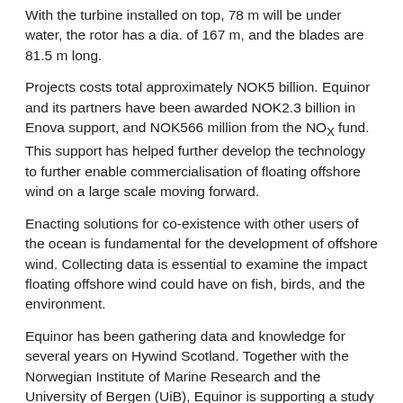With the turbine installed on top, 78 m will be under water, the rotor has a dia. of 167 m, and the blades are 81.5 m long.
Projects costs total approximately NOK5 billion. Equinor and its partners have been awarded NOK2.3 billion in Enova support, and NOK566 million from the NOX fund. This support has helped further develop the technology to further enable commercialisation of floating offshore wind on a large scale moving forward.
Enacting solutions for co-existence with other users of the ocean is fundamental for the development of offshore wind. Collecting data is essential to examine the impact floating offshore wind could have on fish, birds, and the environment.
Equinor has been gathering data and knowledge for several years on Hywind Scotland. Together with the Norwegian Institute of Marine Research and the University of Bergen (UiB), Equinor is supporting a study on pelagic fisheries in the Hywind Tampen area. These data will be used in a major research collaboration called ‘WindFish’, and is most likely the first of many studies in this area in the future.
The government has an ambition to produce almost as much new electricity from offshore wind as Norway currently produces today,